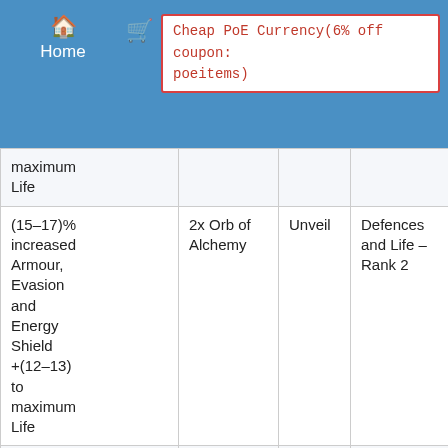Home | Cheap PoE Currency(6% off coupon: poeitems)
| Modifier | Cost | Unlock Method | Tag – Rank | Type |
| --- | --- | --- | --- | --- |
| maximum Life |  |  |  |  |
| (15–17)% increased Armour, Evasion and Energy Shield +(12–13) to maximum Life | 2x Orb of Alchemy | Unveil | Defences and Life – Rank 2 | Chosen Prefix Local |
| (18–21)% increased Armour, Evasion and Energy Shield
+(14) to
maximum Life | 2x Chaos Orb | Unveil | Defences and Life – Rank 3 | Chosen Prefix Local |